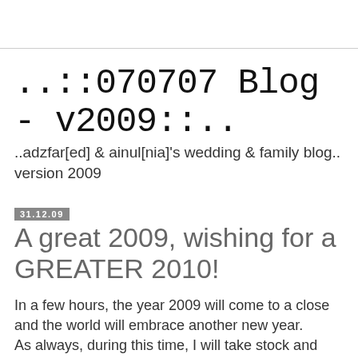..::070707 Blog - v2009::..
..adzfar[ed] & ainul[nia]'s wedding & family blog.. version 2009
31.12.09
A great 2009, wishing for a GREATER 2010!
In a few hours, the year 2009 will come to a close and the world will embrace another new year.
As always, during this time, I will take stock and reflect on the year that was and celebrate all the wins from 2009.
For starters, blogging wise, this year, i.e. 2009 has been less than productive. In my mind, there are a lot of things I want